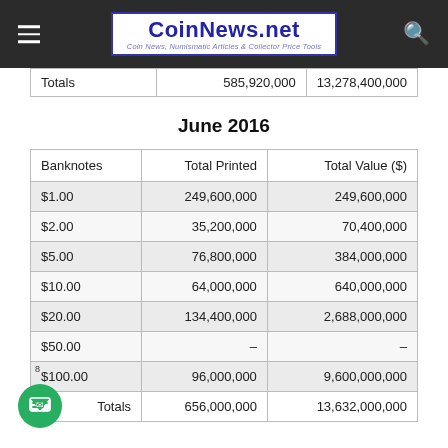CoinNews.net — Coin News, Numismatic Articles & Collector Price Tools
|  | Total Printed | Total Value ($) |
| --- | --- | --- |
| Totals | 585,920,000 | 13,278,400,000 |
June 2016
| Banknotes | Total Printed | Total Value ($) |
| --- | --- | --- |
| $1.00 | 249,600,000 | 249,600,000 |
| $2.00 | 35,200,000 | 70,400,000 |
| $5.00 | 76,800,000 | 384,000,000 |
| $10.00 | 64,000,000 | 640,000,000 |
| $20.00 | 134,400,000 | 2,688,000,000 |
| $50.00 | – | – |
| $100.00 | 96,000,000 | 9,600,000,000 |
| Totals | 656,000,000 | 13,632,000,000 |